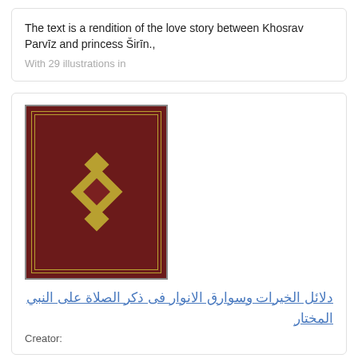The text is a rendition of the love story between Khosrav Parvīz and princess Širīn.,
With 29 illustrations in
[Figure (photo): Photo of an antique book cover with dark red/maroon leather binding and gold decorative ornament in the center consisting of diamond shapes and floral patterns, with a gold border frame.]
دلائل الخيرات وسوارق الانوار فى ذكر الصلاة على النبي المختار
Creator: